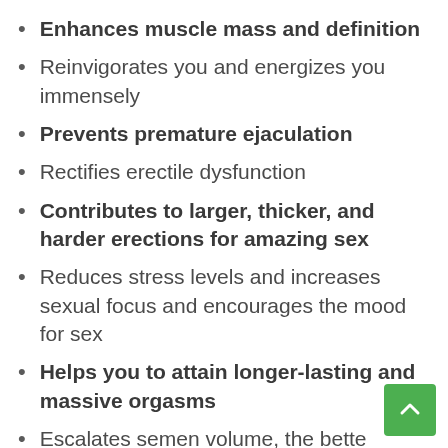Enhances muscle mass and definition
Reinvigorates you and energizes you immensely
Prevents premature ejaculation
Rectifies erectile dysfunction
Contributes to larger, thicker, and harder erections for amazing sex
Reduces stress levels and increases sexual focus and encourages the mood for sex
Helps you to attain longer-lasting and massive orgasms
Escalates semen volume, the better concentration of semen, and sperm